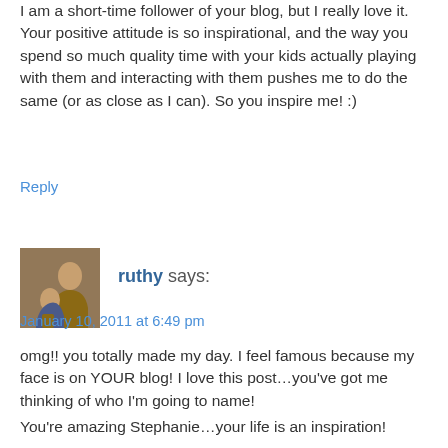I am a short-time follower of your blog, but I really love it. Your positive attitude is so inspirational, and the way you spend so much quality time with your kids actually playing with them and interacting with them pushes me to do the same (or as close as I can). So you inspire me! :)
Reply
[Figure (photo): Avatar photo of a woman crouching next to a young child, both outdoors]
ruthy says:
January 10, 2011 at 6:49 pm
omg!! you totally made my day. I feel famous because my face is on YOUR blog! I love this post…you've got me thinking of who I'm going to name!
You're amazing Stephanie…your life is an inspiration!